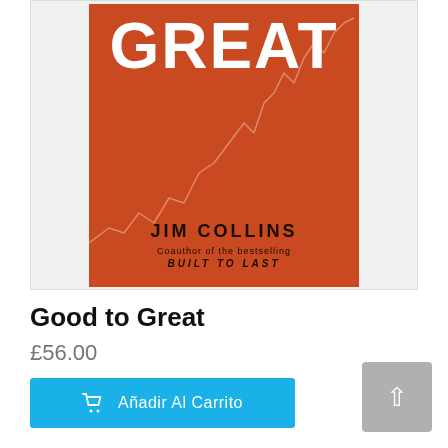[Figure (illustration): Book cover of 'Good to Great' by Jim Collins. Orange/red background with large white bold text 'GREAT' and a light stock market line chart overlaid. Author name 'JIM COLLINS' in dark bold letters, subtitle 'Coauthor of the bestselling BUILT TO LAST' below.]
Good to Great
£56.00
Añadir Al Carrito